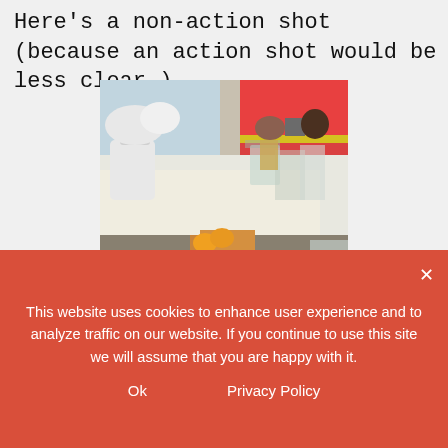Here's a non-action shot (because an action shot would be less clear.)
[Figure (photo): Kitchen counter scene with soap-making supplies: a kettle, containers, measuring cups, bars of soap, a large blue bucket, and various ingredients on the counter and floor.]
This website uses cookies to enhance user experience and to analyze traffic on our website. If you continue to use this site we will assume that you are happy with it.
Ok    Privacy Policy